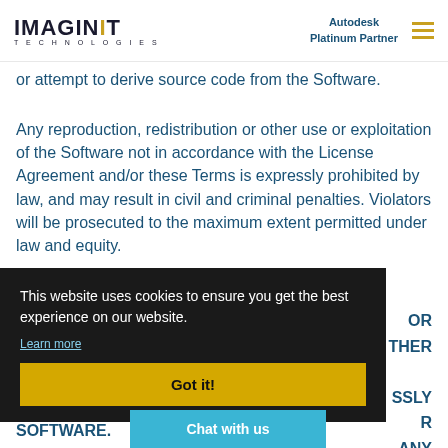IMAGINiT TECHNOLOGIES — Autodesk Platinum Partner
or attempt to derive source code from the Software.
Any reproduction, redistribution or other use or exploitation of the Software not in accordance with the License Agreement and/or these Terms is expressly prohibited by law, and may result in civil and criminal penalties. Violators will be prosecuted to the maximum extent permitted under law and equity.
OR THER SSLY R ANY SOFTWARE.
This website uses cookies to ensure you get the best experience on our website.
Learn more
Got it!
Chat with us